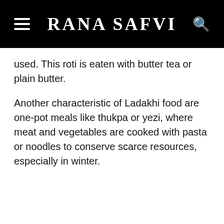Rana Safvi
used. This roti is eaten with butter tea or plain butter.
Another characteristic of Ladakhi food are one-pot meals like thukpa or yezi, where meat and vegetables are cooked with pasta or noodles to conserve scarce resources, especially in winter.